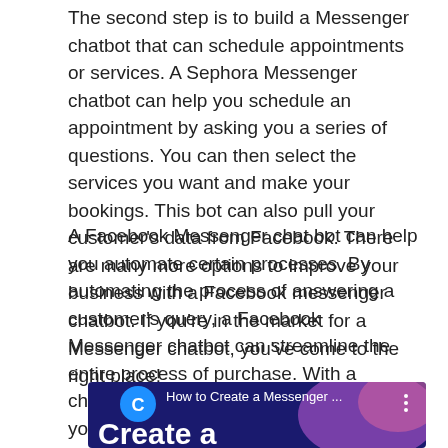The second step is to build a Messenger chatbot that can schedule appointments or services. A Sephora Messenger chatbot can help you schedule an appointment by asking you a series of questions. You can then select the services you want and make your bookings. This bot can also pull your customer's data from Facebook. There are many more options to improve your business with a Facebook messenger chatbot. If you're in the market for a Messenger chatbot, you've come to the right place!
A Facebook Messenger chat bot can help you automate certain processes. By automating the process of answering a customer's query, a Facebook Messenger chatbot can streamline the entire process of purchase. With a chatbot, you'll be able to save and share your progress. In addition, you can also test your Facebook messenger bot by creating an account with it. Once your chatbot is fully automated, you'll be able to add more features and improve your customer service.
[Figure (screenshot): A video thumbnail showing 'How to Create a Messenger ...' with a blue background, a circular C logo icon, and partial text 'Create a' in large white letters. There is a three-dot menu icon on the right.]